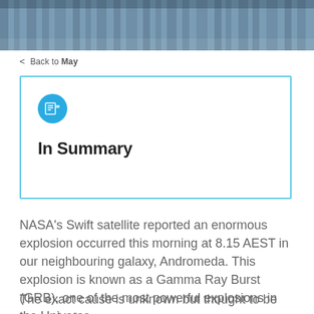[Figure (photo): Blurred photo strip of a building or structure, blue-grey tones, at top of page]
< Back to May
In Summary
NASA's Swift satellite reported an enormous explosion occurred this morning at 8.15 AEST in our neighbouring galaxy, Andromeda. This explosion is known as a Gamma Ray Burst (GRB), one of the most powerful explosions in the Universe.
The exact cause is unknown but thought to be an explosion